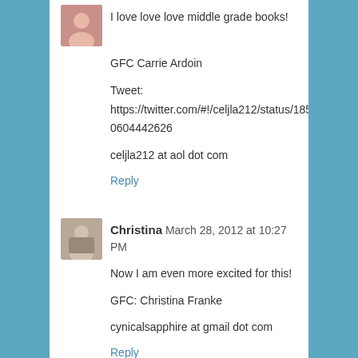I love love love middle grade books!
GFC Carrie Ardoin
Tweet: https://twitter.com/#!/celjla212/status/185177680604442626
celjla212 at aol dot com
Reply
Christina  March 28, 2012 at 10:27 PM
Now I am even more excited for this!
GFC: Christina Franke
cynicalsapphire at gmail dot com
Reply